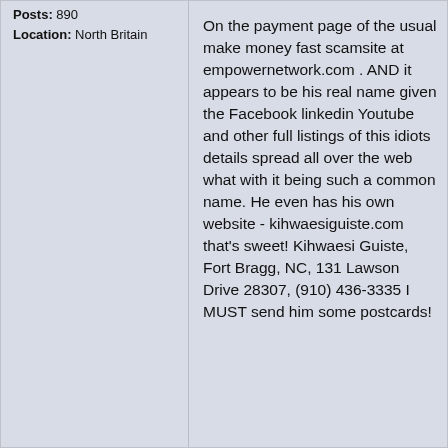Posts: 890
Location: North Britain
On the payment page of the usual make money fast scamsite at empowernetwork.com . AND it appears to be his real name given the Facebook linkedin Youtube and other full listings of this idiots details spread all over the web what with it being such a common name. He even has his own website - kihwaesiguiste.com that's sweet! Kihwaesi Guiste, Fort Bragg, NC, 131 Lawson Drive 28307, (910) 436-3335 I MUST send him some postcards!